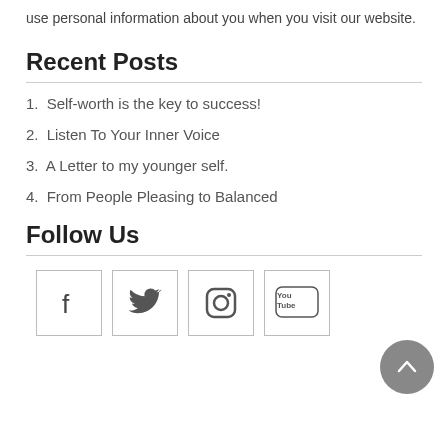use personal information about you when you visit our website.
Recent Posts
1. Self-worth is the key to success!
2. Listen To Your Inner Voice
3. A Letter to my younger self.
4. From People Pleasing to Balanced
Follow Us
[Figure (illustration): Social media icons: Facebook, Twitter, Instagram, YouTube in bordered square boxes]